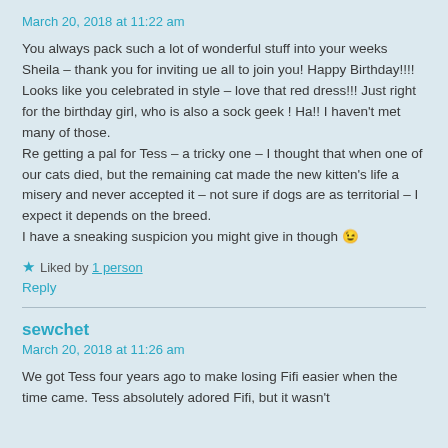March 20, 2018 at 11:22 am
You always pack such a lot of wonderful stuff into your weeks Sheila – thank you for inviting ue all to join you! Happy Birthday!!!! Looks like you celebrated in style – love that red dress!!! Just right for the birthday girl, who is also a sock geek ! Ha!! I haven't met many of those.
Re getting a pal for Tess – a tricky one – I thought that when one of our cats died, but the remaining cat made the new kitten's life a misery and never accepted it – not sure if dogs are as territorial – I expect it depends on the breed.
I have a sneaking suspicion you might give in though 😉
★ Liked by 1 person
Reply
sewchet
March 20, 2018 at 11:26 am
We got Tess four years ago to make losing Fifi easier when the time came. Tess absolutely adored Fifi, but it wasn't